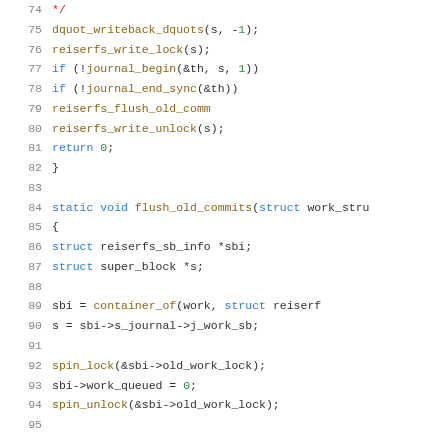[Figure (screenshot): Source code listing showing C code for reiserfs filesystem functions, lines 74-95, including dquot_writeback_dquots, reiserfs_write_lock, journal_begin, journal_end_sync, reiserfs_flush_old_commits, reiserfs_write_unlock, return 0, closing brace, and static void flush_old_commits function definition with struct declarations, container_of call, spin_lock operations.]